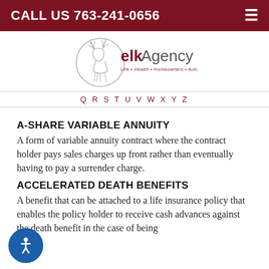CALL US 763-241-0656
[Figure (logo): Elk Agency logo with deer illustration and tagline: Life • Health • Homeowners • Auto • Commercial • Group Insurance]
Q R S T U V W X Y Z
A-SHARE VARIABLE ANNUITY
A form of variable annuity contract where the contract holder pays sales charges up front rather than eventually having to pay a surrender charge.
ACCELERATED DEATH BENEFITS
A benefit that can be attached to a life insurance policy that enables the policy holder to receive cash advances against the death benefit in the case of being